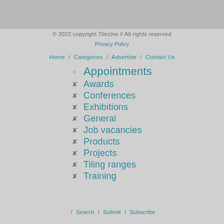© 2022 copyright Tilezine // All rights reserved
Privacy Policy
Home / Categories / Advertise / Contact Us
Appointments
Awards
Conferences
Exhibitions
General
Job vacancies
Products
Projects
Tiling ranges
Training
/ Search / Submit / Subscribe